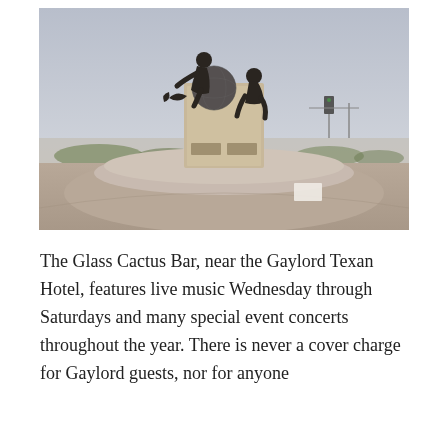[Figure (photo): Outdoor bronze sculpture monument featuring multiple figures including a person seated atop a globe-like sphere and another figure crouching nearby, mounted on a stone pedestal with plaques, set on a circular platform. Background shows an overcast sky and a flat landscape with traffic lights visible in the distance.]
The Glass Cactus Bar, near the Gaylord Texan Hotel, features live music Wednesday through Saturdays and many special event concerts throughout the year. There is never a cover charge for Gaylord guests, nor for anyone